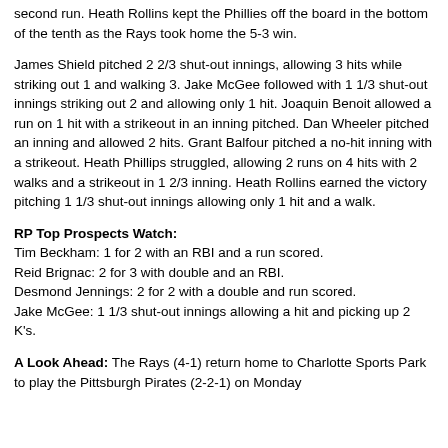second run. Heath Rollins kept the Phillies off the board in the bottom of the tenth as the Rays took home the 5-3 win.
James Shield pitched 2 2/3 shut-out innings, allowing 3 hits while striking out 1 and walking 3. Jake McGee followed with 1 1/3 shut-out innings striking out 2 and allowing only 1 hit. Joaquin Benoit allowed a run on 1 hit with a strikeout in an inning pitched. Dan Wheeler pitched an inning and allowed 2 hits. Grant Balfour pitched a no-hit inning with a strikeout. Heath Phillips struggled, allowing 2 runs on 4 hits with 2 walks and a strikeout in 1 2/3 inning. Heath Rollins earned the victory pitching 1 1/3 shut-out innings allowing only 1 hit and a walk.
RP Top Prospects Watch: Tim Beckham: 1 for 2 with an RBI and a run scored. Reid Brignac: 2 for 3 with double and an RBI. Desmond Jennings: 2 for 2 with a double and run scored. Jake McGee: 1 1/3 shut-out innings allowing a hit and picking up 2 K's.
A Look Ahead: The Rays (4-1) return home to Charlotte Sports Park to play the Pittsburgh Pirates (2-2-1) on Monday